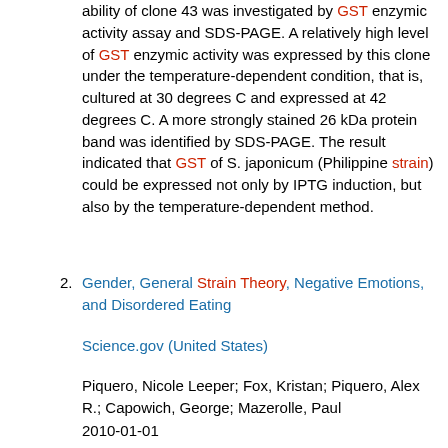ability of clone 43 was investigated by GST enzymic activity assay and SDS-PAGE. A relatively high level of GST enzymic activity was expressed by this clone under the temperature-dependent condition, that is, cultured at 30 degrees C and expressed at 42 degrees C. A more strongly stained 26 kDa protein band was identified by SDS-PAGE. The result indicated that GST of S. japonicum (Philippine strain) could be expressed not only by IPTG induction, but also by the temperature-dependent method.
2. Gender, General Strain Theory, Negative Emotions, and Disordered Eating
Science.gov (United States)
Piquero, Nicole Leeper; Fox, Kristan; Piquero, Alex R.; Capowich, George; Mazerolle, Paul
2010-01-01
Much of the prior work on General Strain Theory (GST) has focused on how strain and negative emotions interrelate to produce criminal--especially violent--activity. Very little research has extended GST to examine other types of non-criminal